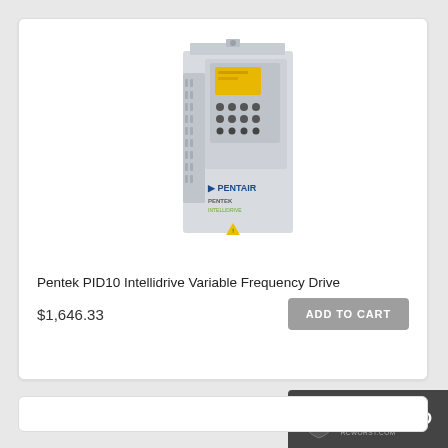[Figure (photo): Pentek PID10 Intellidrive Variable Frequency Drive unit — a tall rectangular light grey enclosure with ventilation slots on the left side, a yellow-display control panel with buttons in the upper portion, a hinged door panel, the Pentair logo and Pentek Intellidrive branding on the lower body, and a yellow warning label at the bottom.]
Pentek PID10 Intellidrive Variable Frequency Drive
$1,646.33
ADD TO CART
[Figure (logo): Trust Guard Secured badge — dark grey rounded rectangle with shield/lock icon, text: TRUST GUARD SECURED RCWORST.COM]